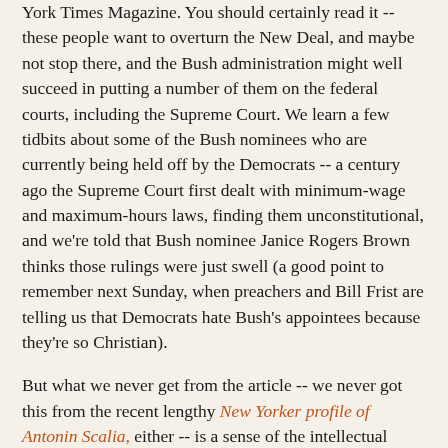York Times Magazine. You should certainly read it -- these people want to overturn the New Deal, and maybe not stop there, and the Bush administration might well succeed in putting a number of them on the federal courts, including the Supreme Court. We learn a few tidbits about some of the Bush nominees who are currently being held off by the Democrats -- a century ago the Supreme Court first dealt with minimum-wage and maximum-hours laws, finding them unconstitutional, and we're told that Bush nominee Janice Rogers Brown thinks those rulings were just swell (a good point to remember next Sunday, when preachers and Bill Frist are telling us that Democrats hate Bush's appointees because they're so Christian).
But what we never get from the article -- we never got this from the recent lengthy New Yorker profile of Antonin Scalia, either -- is a sense of the intellectual debate between right-wing legal radicals and everyone else. Professor Cass Sunstein is trotted out in each article, to criticize Scalia's "originalism" or the C-in-E movement, but the best he can do is enumerate the rulings we wouldn't have had if the modern radicals had been on the courts. A court full of Scalian "originalists" wouldn't have produced the Brown v. Board of Education decision! Constitution in Exile judges would probably find Social Security unconstitutional!